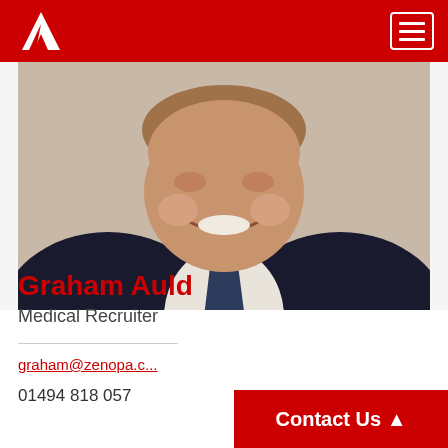Zenopa header with logo and navigation menu
[Figure (photo): Professional headshot of Graham Auld, a man in a dark suit, white shirt, and navy tie, smiling at the camera]
Graham Auld
Medical Recruiter
graham@zenopa.c...
01494 818 057
Contact Us ▲